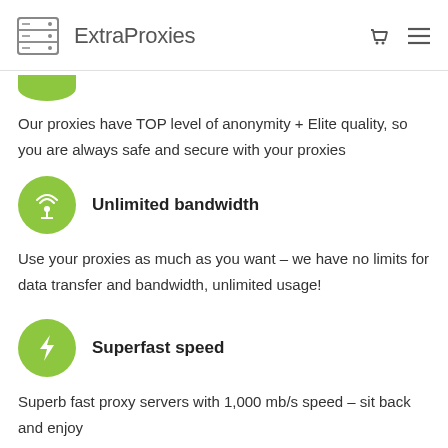ExtraProxies
Our proxies have TOP level of anonymity + Elite quality, so you are always safe and secure with your proxies
Unlimited bandwidth
Use your proxies as much as you want – we have no limits for data transfer and bandwidth, unlimited usage!
Superfast speed
Superb fast proxy servers with 1,000 mb/s speed – sit back and enjoy